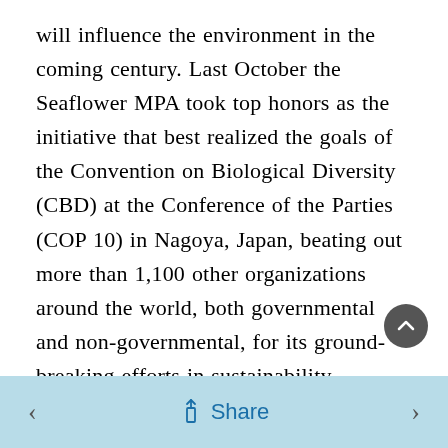will influence the environment in the coming century. Last October the Seaflower MPA took top honors as the initiative that best realized the goals of the Convention on Biological Diversity (CBD) at the Conference of the Parties (COP 10) in Nagoya, Japan, beating out more than 1,100 other organizations around the world, both governmental and non-governmental, for its ground-breaking efforts in sustainability.
In addition to conserving marine biodiversity and ecosystems, “the intention is to open an umbrella
Share